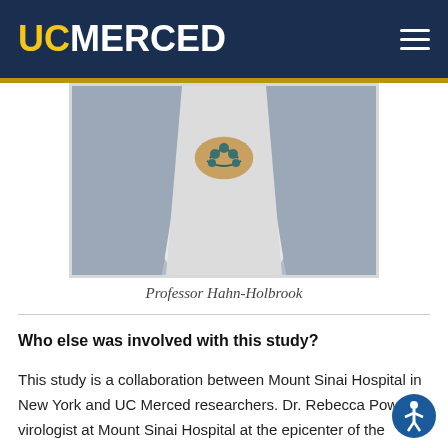UC MERCED
[Figure (photo): Close-up photo of Professor Hahn-Holbrook's torso wearing a blue blazer over a white top with a decorative brooch/necklace]
Professor Hahn-Holbrook
Who else was involved with this study?
This study is a collaboration between Mount Sinai Hospital in New York and UC Merced researchers. Dr. Rebecca Powell, a virologist at Mount Sinai Hospital at the epicenter of the outbreak in New